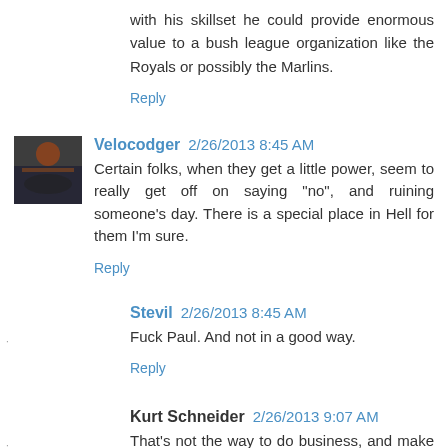with his skillset he could provide enormous value to a bush league organization like the Royals or possibly the Marlins.
Reply
Velocodger 2/26/2013 8:45 AM
Certain folks, when they get a little power, seem to really get off on saying "no", and ruining someone's day. There is a special place in Hell for them I'm sure.
Reply
Stevil 2/26/2013 8:45 AM
Fuck Paul. And not in a good way.
Reply
Kurt Schneider 2/26/2013 9:07 AM
That's not the way to do business, and make no mistake, the trade show IS a business.